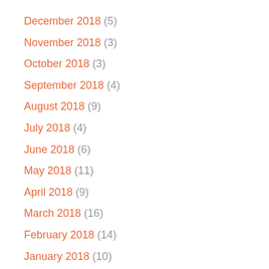December 2018 (5)
November 2018 (3)
October 2018 (3)
September 2018 (4)
August 2018 (9)
July 2018 (4)
June 2018 (6)
May 2018 (11)
April 2018 (9)
March 2018 (16)
February 2018 (14)
January 2018 (10)
December 2017 (1)
November 2017 (1)
October 2017 (1)